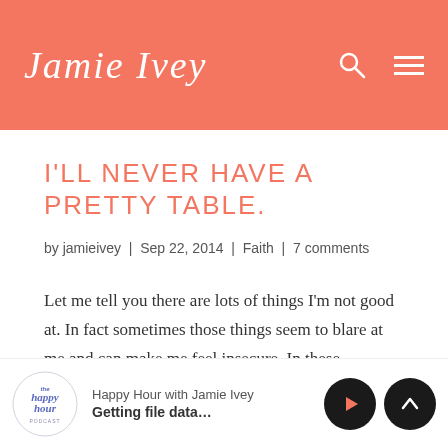Jamie Ivey
I'LL NEVER HAVE A PRETTY TABLE.
by jamieivey | Sep 22, 2014 | Faith | 7 comments
Let me tell you there are lots of things I'm not good at. In fact sometimes those things seem to blare at me and can make me feel insecure. In these moments I literally have to remind myself that I'm
Happy Hour with Jamie Ivey — Getting file data...